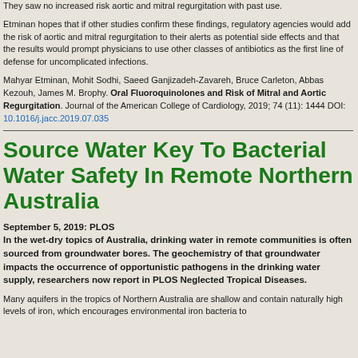They saw no increased risk aortic and mitral regurgitation with past use.
Etminan hopes that if other studies confirm these findings, regulatory agencies would add the risk of aortic and mitral regurgitation to their alerts as potential side effects and that the results would prompt physicians to use other classes of antibiotics as the first line of defense for uncomplicated infections.
Mahyar Etminan, Mohit Sodhi, Saeed Ganjizadeh-Zavareh, Bruce Carleton, Abbas Kezouh, James M. Brophy. Oral Fluoroquinolones and Risk of Mitral and Aortic Regurgitation. Journal of the American College of Cardiology, 2019; 74 (11): 1444 DOI: 10.1016/j.jacc.2019.07.035
Source Water Key To Bacterial Water Safety In Remote Northern Australia
September 5, 2019: PLOS
In the wet-dry topics of Australia, drinking water in remote communities is often sourced from groundwater bores. The geochemistry of that groundwater impacts the occurrence of opportunistic pathogens in the drinking water supply, researchers now report in PLOS Neglected Tropical Diseases.
Many aquifers in the tropics of Northern Australia are shallow and contain naturally high levels of iron, which encourages environmental iron bacteria to